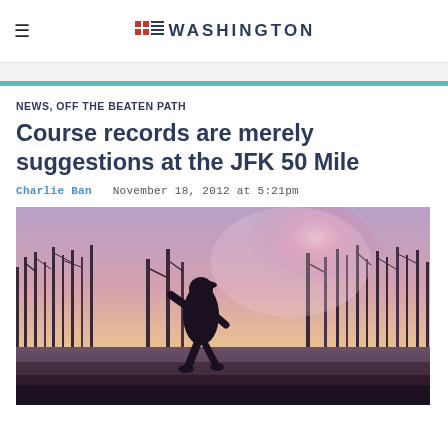iRunWashington (logo/navigation header)
NEWS, OFF THE BEATEN PATH
Course records are merely suggestions at the JFK 50 Mile
Charlie Ban  November 18, 2012 at 5:21pm
[Figure (photo): Silhouette of a runner in a forest landscape with bare trees and colorful sky with pink/purple light flare, overcast winter setting]